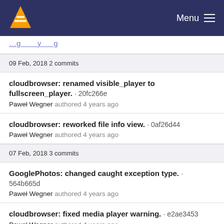Menu
[partial link text visible at top]
09 Feb, 2018 2 commits
cloudbrowser: renamed visible_player to fullscreen_player. · 20fc266e
Paweł Wegner authored 4 years ago
cloudbrowser: reworked file info view. · 0af26d44
Paweł Wegner authored 4 years ago
07 Feb, 2018 3 commits
GooglePhotos: changed caught exception type. · 564b665d
Paweł Wegner authored 4 years ago
cloudbrowser: fixed media player warning. · e2ae3453
Paweł Wegner authored 4 years ago
CloudProvider: use getItemData as getItemUrl by default. ·